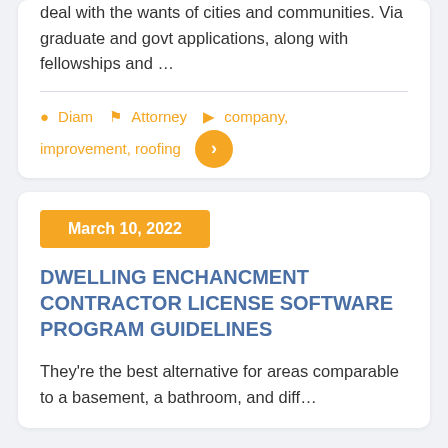deal with the wants of cities and communities. Via graduate and govt applications, along with fellowships and …
Diam  Attorney  company, improvement, roofing
March 10, 2022
DWELLING ENCHANCMENT CONTRACTOR LICENSE SOFTWARE PROGRAM GUIDELINES
They're the best alternative for areas comparable to a basement, a bathroom, and diff…